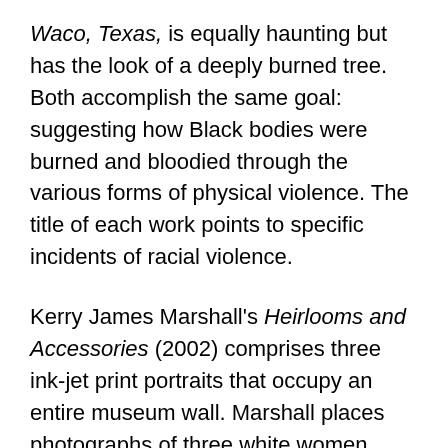Waco, Texas, is equally haunting but has the look of a deeply burned tree. Both accomplish the same goal: suggesting how Black bodies were burned and bloodied through the various forms of physical violence. The title of each work points to specific incidents of racial violence.
Kerry James Marshall's Heirlooms and Accessories (2002) comprises three ink-jet print portraits that occupy an entire museum wall. Marshall places photographs of three white women, each peering out from a locket in separate, glittering frames. Yet the background of each canvas depicts a faint photograph of a brutal lynching — the locket